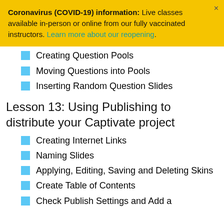Coronavirus (COVID-19) information: Live classes available in-person or online from our fully vaccinated instructors. Learn more about our reopening.
Creating Question Pools
Moving Questions into Pools
Inserting Random Question Slides
Lesson 13: Using Publishing to distribute your Captivate project
Creating Internet Links
Naming Slides
Applying, Editing, Saving and Deleting Skins
Create Table of Contents
Check Publish Settings and Add a ...